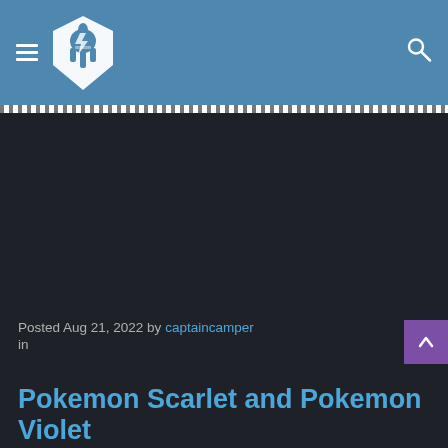Site header with hamburger menu, logo, and search icon
[Figure (logo): White hexagonal spartan helmet logo on blue background]
Posted Aug 21, 2022 by captaincamper in
Pokemon Scarlet and Pokemon Violet